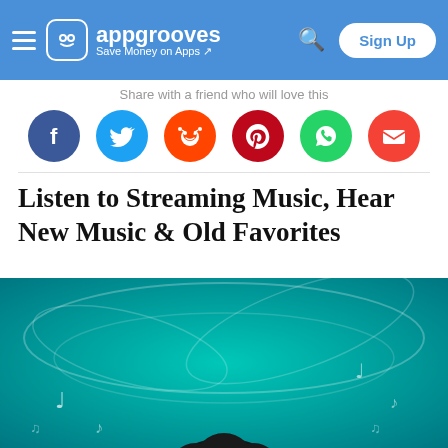appgrooves — Save Money on Apps
Share with a friend who will love this
[Figure (illustration): Six social sharing icons in circles: Facebook (blue), Twitter (sky blue), Reddit (orange), Pinterest (red), WhatsApp (green), Email (orange-red)]
Listen to Streaming Music, Hear New Music & Old Favorites
[Figure (photo): Person with large curly afro hair against a teal/cyan background with glowing music notes and swirling light trails]